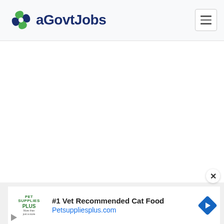aGovtJobs
[Figure (logo): aGovtJobs website logo with spinning gear/leaf icon in blue and green, and text 'aGovtJobs' in dark navy blue]
[Figure (other): Hamburger menu button (three horizontal lines) in top right corner]
[Figure (other): Close (X) button overlay]
[Figure (other): Advertisement banner: Pet Supplies Plus logo, '#1 Vet Recommended Cat Food', 'Petsuppliesplus.com', blue diamond arrow navigation icon]